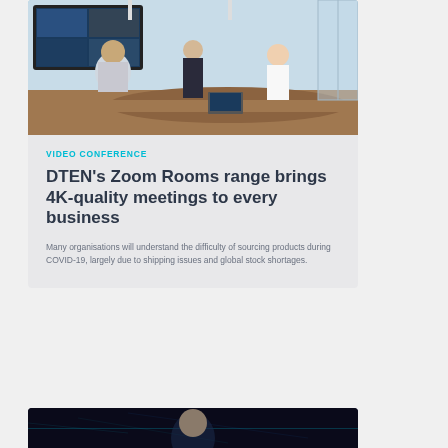[Figure (photo): Office meeting room with people around a table and a video conference screen on the wall showing remote participants]
VIDEO CONFERENCE
DTEN's Zoom Rooms range brings 4K-quality meetings to every business
Many organisations will understand the difficulty of sourcing products during COVID-19, largely due to shipping issues and global stock shortages.
[Figure (photo): Dark technology background image at bottom of page]